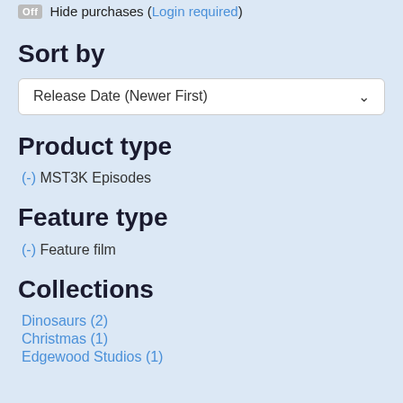Off  Hide purchases (Login required)
Sort by
Release Date (Newer First)
Product type
(-) MST3K Episodes
Feature type
(-) Feature film
Collections
Dinosaurs (2)
Christmas (1)
Edgewood Studios (1)